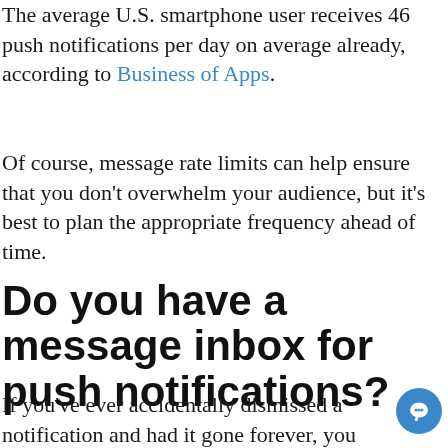The average U.S. smartphone user receives 46 push notifications per day on average already, according to Business of Apps.
Of course, message rate limits can help ensure that you don't overwhelm your audience, but it's best to plan the appropriate frequency ahead of time.
Do you have a message inbox for push notifications?
If you've ever accidentally dismissed a notification and had it gone forever, you understand the value